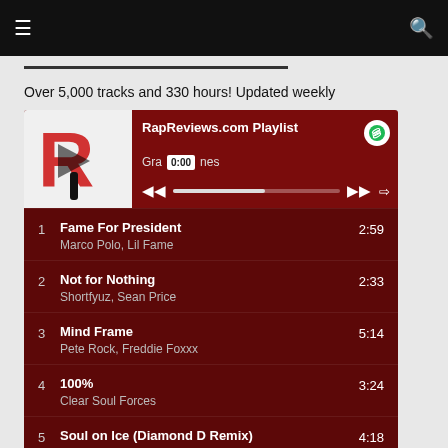☰  [search icon]
Over 5,000 tracks and 330 hours! Updated weekly
[Figure (screenshot): Spotify embedded playlist player widget for RapReviews.com Playlist by Grant Jones, showing 0:00 timestamp, playback controls and progress bar, with dark red background and RapReviews logo]
1  Fame For President  2:59
Marco Polo, Lil Fame
2  Not for Nothing  2:33
Shortfyuz, Sean Price
3  Mind Frame  5:14
Pete Rock, Freddie Foxxx
4  100%  3:24
Clear Soul Forces
5  Soul on Ice (Diamond D Remix)  4:18
Ras Kass, Diamond D